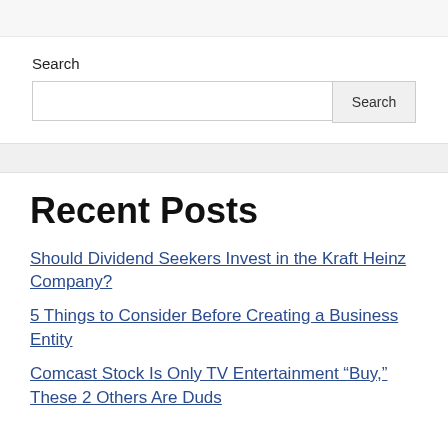Search
Search [input box] Search [button]
Recent Posts
Should Dividend Seekers Invest in the Kraft Heinz Company?
5 Things to Consider Before Creating a Business Entity
Comcast Stock Is Only TV Entertainment "Buy," These 2 Others Are Duds